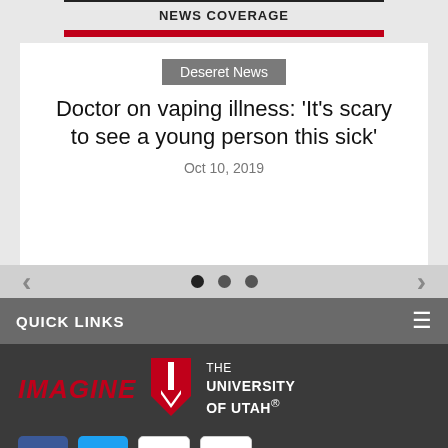NEWS COVERAGE
Deseret News
Doctor on vaping illness: 'It's scary to see a young person this sick'
Oct 10, 2019
QUICK LINKS
[Figure (logo): Imagine U logo with The University of Utah text]
[Figure (infographic): Social media icons: Facebook, Twitter, YouTube, Instagram]